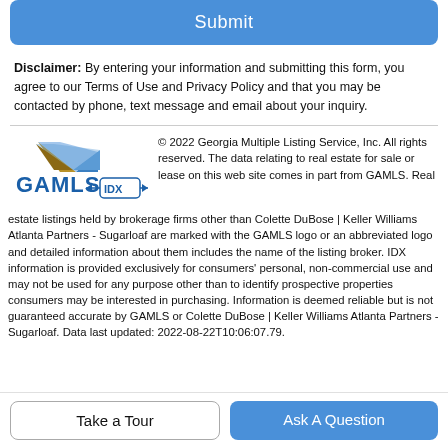[Figure (other): Submit button - blue rounded rectangle with white text 'Submit']
Disclaimer: By entering your information and submitting this form, you agree to our Terms of Use and Privacy Policy and that you may be contacted by phone, text message and email about your inquiry.
[Figure (logo): GAMLS IDX logo - blue text GAMLS with IDX badge and arrow, blue roof/house graphic above]
© 2022 Georgia Multiple Listing Service, Inc. All rights reserved. The data relating to real estate for sale or lease on this web site comes in part from GAMLS. Real estate listings held by brokerage firms other than Colette DuBose | Keller Williams Atlanta Partners - Sugarloaf are marked with the GAMLS logo or an abbreviated logo and detailed information about them includes the name of the listing broker. IDX information is provided exclusively for consumers' personal, non-commercial use and may not be used for any purpose other than to identify prospective properties consumers may be interested in purchasing. Information is deemed reliable but is not guaranteed accurate by GAMLS or Colette DuBose | Keller Williams Atlanta Partners - Sugarloaf. Data last updated: 2022-08-22T10:06:07.79.
Take a Tour
Ask A Question